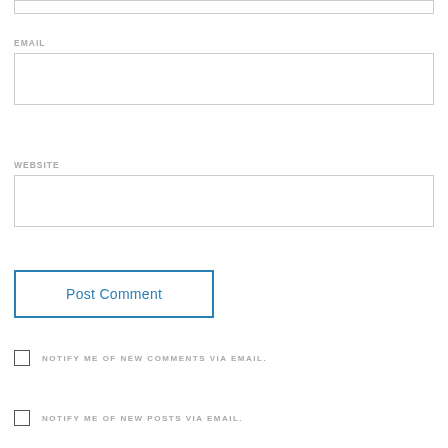EMAIL
WEBSITE
Post Comment
NOTIFY ME OF NEW COMMENTS VIA EMAIL.
NOTIFY ME OF NEW POSTS VIA EMAIL.